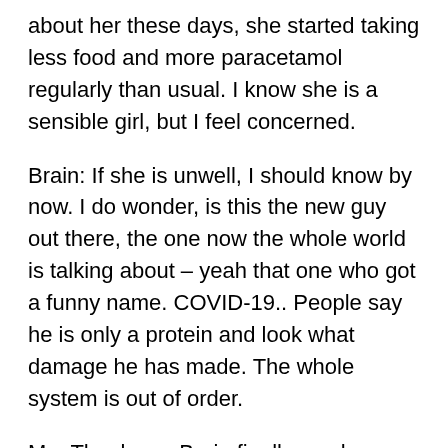about her these days, she started taking less food and more paracetamol regularly than usual. I know she is a sensible girl, but I feel concerned.
Brain: If she is unwell, I should know by now. I do wonder, is this the new guy out there, the one now the whole world is talking about – yeah that one who got a funny name. COVID-19.. People say he is only a protein and look what damage he has made. The whole system is out of order.
Me: Thank you Brain finally you know what I mean 🙁😓